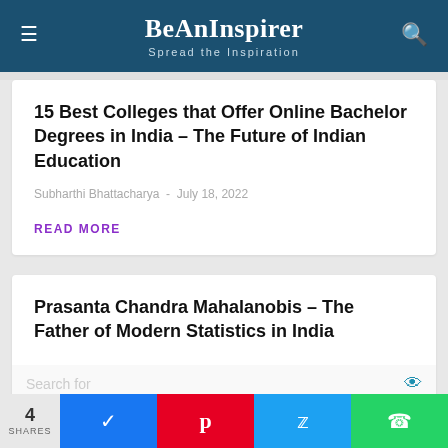BeAnInspirer – Spread the Inspiration
15 Best Colleges that Offer Online Bachelor Degrees in India – The Future of Indian Education
Subharthi Bhattacharya  -  July 18, 2022
READ MORE
Prasanta Chandra Mahalanobis – The Father of Modern Statistics in India
Search for
1  POSITIVE ATTITUDE QUOTES
4 SHARES